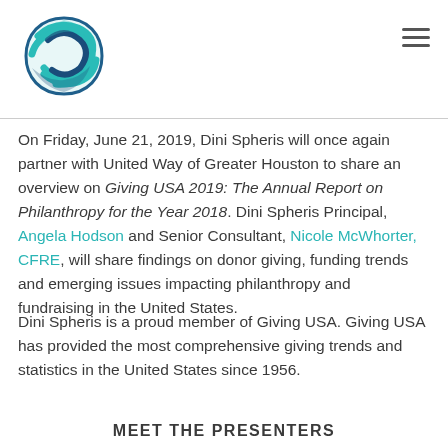[Figure (logo): Dini Spheris globe/sphere logo in teal and blue swirling design]
On Friday, June 21, 2019, Dini Spheris will once again partner with United Way of Greater Houston to share an overview on Giving USA 2019: The Annual Report on Philanthropy for the Year 2018. Dini Spheris Principal, Angela Hodson and Senior Consultant, Nicole McWhorter, CFRE, will share findings on donor giving, funding trends and emerging issues impacting philanthropy and fundraising in the United States.
Dini Spheris is a proud member of Giving USA. Giving USA has provided the most comprehensive giving trends and statistics in the United States since 1956.
MEET THE PRESENTERS